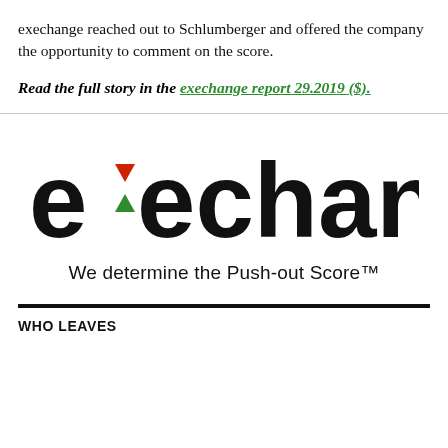exechange reached out to Schlumberger and offered the company the opportunity to comment on the score.
Read the full story in the exechange report 29.2019 ($).
[Figure (logo): exechange logo with red downward triangle and green upward triangle forming the 'x', followed by tagline 'We determine the Push-out Score™']
WHO LEAVES